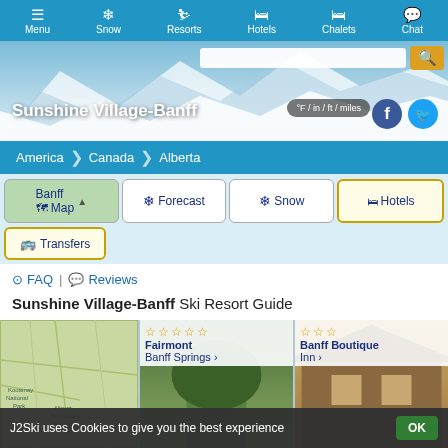Menu | Snow | Resorts | Hotels | Chalets | Chat
[Figure (screenshot): Hero background with mountain/snow image showing Sunshine Village-Banff title, unit toggle button (°F / in / ft / miles), search bar, and social media icons (Facebook, Twitter)]
Sunshine Village-Banff
°F / in / ft / miles
America > Canada > Alberta
Banff Map | ❄ Forecast | ❄ Snow | Hotels | Transfers
⊙ FAQ | 💬 Reviews
Sunshine Village-Banff Ski Resort Guide
[Figure (map): Map thumbnail showing Banff area]
★★★★★ Fairmont Banff Springs >
★★★ Banff Boutique Inn >
J2Ski uses Cookies to give you the best experience OK